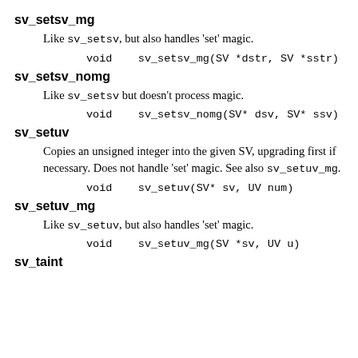sv_setsv_mg
Like sv_setsv, but also handles 'set' magic.
void    sv_setsv_mg(SV *dstr, SV *sstr)
sv_setsv_nomg
Like sv_setsv but doesn't process magic.
void    sv_setsv_nomg(SV* dsv, SV* ssv)
sv_setuv
Copies an unsigned integer into the given SV, upgrading first if necessary. Does not handle 'set' magic. See also sv_setuv_mg.
void    sv_setuv(SV* sv, UV num)
sv_setuv_mg
Like sv_setuv, but also handles 'set' magic.
void    sv_setuv_mg(SV *sv, UV u)
sv_taint